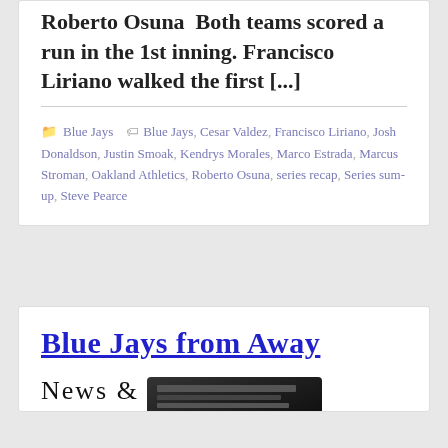Roberto Osuna  Both teams scored a run in the 1st inning. Francisco Liriano walked the first [...]
Blue Jays   Blue Jays, Cesar Valdez, Francisco Liriano, Josh Donaldson, Justin Smoak, Kendrys Morales, Marco Estrada, Marcus Stroman, Oakland Athletics, Roberto Osuna, series recap, Series sum-up, Steve Pearce
[Figure (logo): Blue Jays from Away website logo with typewriter illustration and text 'News &']